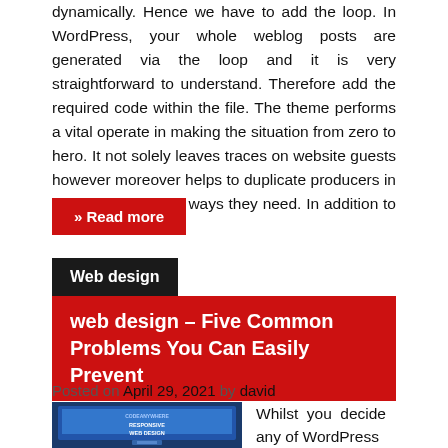dynamically. Hence we have to add the loop. In WordPress, your whole weblog posts are generated via the loop and it is very straightforward to understand. Therefore add the required code within the file. The theme performs a vital operate in making the situation from zero to hero. It not solely leaves traces on website guests however moreover helps to duplicate producers in one of the simplest ways they need. In addition to … Read the rest
» Read more
Web design
web design – Five Common Problems You Can Easily Prevent
Posted on April 29, 2021 by david
[Figure (screenshot): Screenshot of a responsive web design displayed on a tablet/monitor with blue background and 'RESPONSIVE WEB DESIGN' text]
Whilst you decide any of WordPress